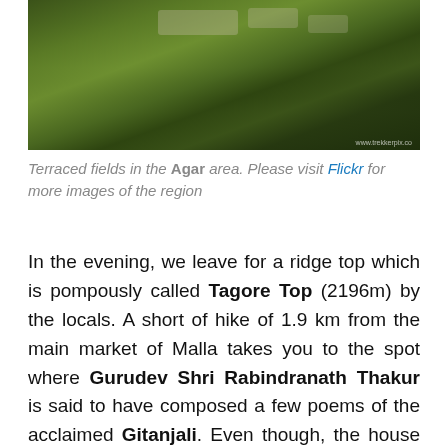[Figure (photo): Aerial/elevated view of terraced fields and village buildings on a hillside in the Agar area, with green terraces covering the slopes]
Terraced fields in the Agar area. Please visit Flickr for more images of the region
In the evening, we leave for a ridge top which is pompously called Tagore Top (2196m) by the locals. A short of hike of 1.9 km from the main market of Malla takes you to the spot where Gurudev Shri Rabindranath Thakur is said to have composed a few poems of the acclaimed Gitanjali. Even though, the house where he lived during his stay in the valley is in hopeless ruins today, the spot continues to be a point of attraction for obvious reasons. The trail we take passes through a government managed orchard that hardly fruits. On the way, some characteristic touches of the hard native life